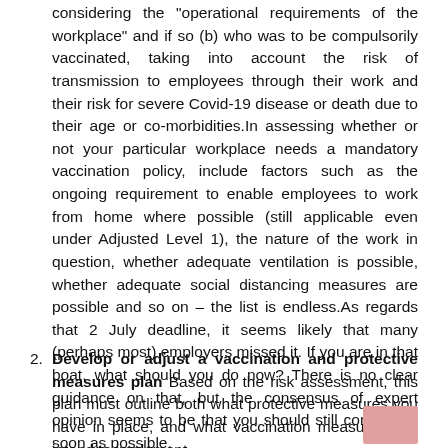considering the "operational requirements of the workplace" and if so (b) who was to be compulsorily vaccinated, taking into account the risk of transmission to employees through their work and their risk for severe Covid-19 disease or death due to their age or co-morbidities.In assessing whether or not your particular workplace needs a mandatory vaccination policy, include factors such as the ongoing requirement to enable employees to work from home where possible (still applicable even under Adjusted Level 1), the nature of the work in question, whether adequate ventilation is possible, whether adequate social distancing measures are possible and so on – the list is endless.As regards that 2 July deadline, it seems likely that many (perhaps most) employers missed it. If you are in that boat, what should you do now? There is no clear guidance on that, but the consensus of expert opinion seems to be that you should still comply, as soon as possible.
2. Develop or adjust a vaccination and protective measures plan Based on the risk assessment, this plan must outline both what protective measures you have in place, and what vaccination measures you intend to implement.